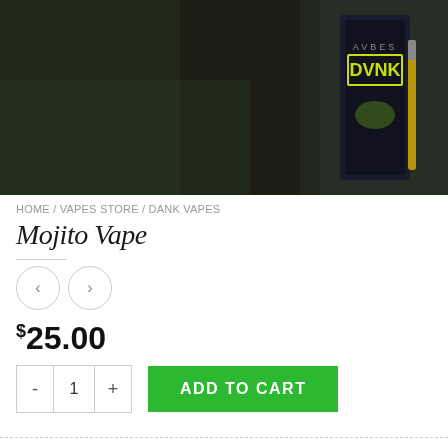[Figure (photo): Product photo of a DVNK (Dank Vapes) vape cartridge box and pen, dark background with green lighting accents]
HOME / VAPES STORE / DANK VAPES
Mojito Vape
$25.00
ADD TO CART
SKU: d92b0904aa4f
Category: Dank Vapes
Tags: Another marijuana online shop, Buy cannabis, buy cannabis